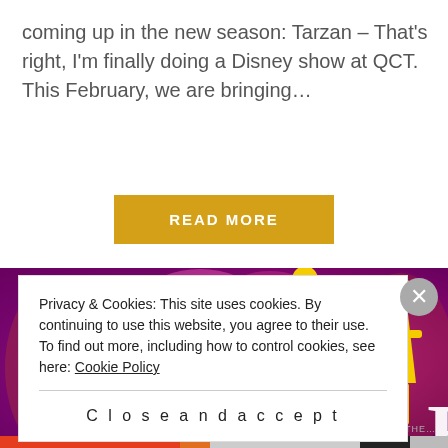coming up in the new season: Tarzan – That's right, I'm finally doing a Disney show at QCT.  This February, we are bringing…
READ MORE
[Figure (illustration): Promotional poster for 'A Wrinkle' showing two yellow silhouettes of figures (a boy and a girl) against a swirling purple and pink psychedelic background. Large white text reads 'A WRINKLE' at the bottom.]
Privacy & Cookies: This site uses cookies. By continuing to use this website, you agree to their use.
To find out more, including how to control cookies, see here: Cookie Policy
Close and accept